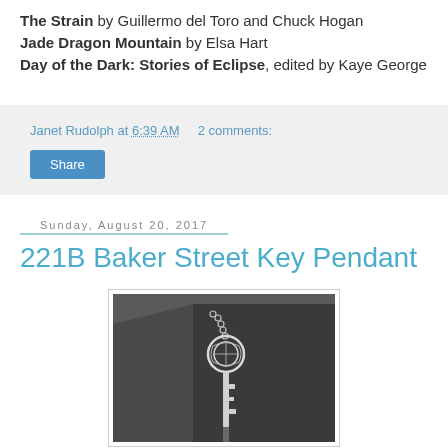The Strain by Guillermo del Toro and Chuck Hogan
Jade Dragon Mountain by Elsa Hart
Day of the Dark: Stories of Eclipse, edited by Kaye George
Janet Rudolph at 6:39 AM   2 comments:
Share
Sunday, August 20, 2017
221B Baker Street Key Pendant
[Figure (photo): A silver key pendant on a chain resting on a dark surface, featuring decorative engravings on the bow of the key.]